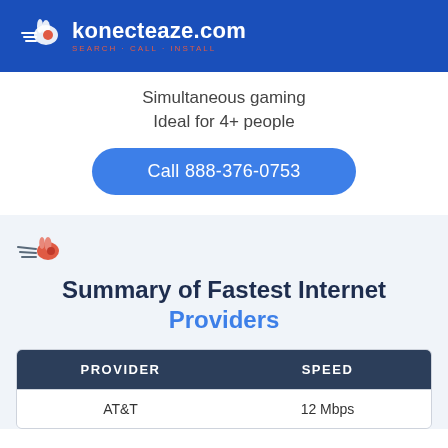konecteaze.com SEARCH · CALL · INSTALL
Simultaneous gaming
Ideal for 4+ people
Call 888-376-0753
[Figure (logo): Konecteaze rabbit speed logo icon]
Summary of Fastest Internet Providers
| PROVIDER | SPEED |
| --- | --- |
| AT&T | 12 Mbps |